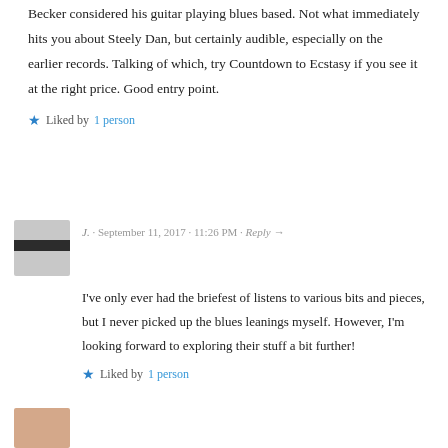Becker considered his guitar playing blues based. Not what immediately hits you about Steely Dan, but certainly audible, especially on the earlier records. Talking of which, try Countdown to Ecstasy if you see it at the right price. Good entry point.
Liked by 1 person
J. · September 11, 2017 · 11:26 PM · Reply →
I've only ever had the briefest of listens to various bits and pieces, but I never picked up the blues leanings myself. However, I'm looking forward to exploring their stuff a bit further!
Liked by 1 person